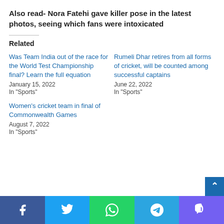Also read- Nora Fatehi gave killer pose in the latest photos, seeing which fans were intoxicated
Related
Was Team India out of the race for the World Test Championship final? Learn the full equation
January 15, 2022
In "Sports"
Rumeli Dhar retires from all forms of cricket, will be counted among successful captains
June 22, 2022
In "Sports"
Women's cricket team in final of Commonwealth Games
August 7, 2022
In "Sports"